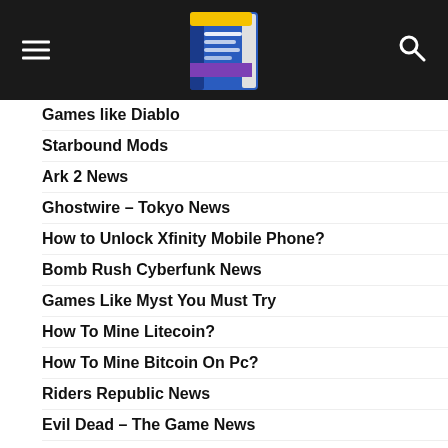Techvercity navigation header with logo, hamburger menu, and search icon
Games like Diablo
Starbound Mods
Ark 2 News
Ghostwire – Tokyo News
How to Unlock Xfinity Mobile Phone?
Bomb Rush Cyberfunk News
Games Like Myst You Must Try
How To Mine Litecoin?
How To Mine Bitcoin On Pc?
Riders Republic News
Evil Dead – The Game News
How to Make a Mobile App?
Games Like Far Cry
Best Wireless Mouse for 2022 – Techvercity Guides